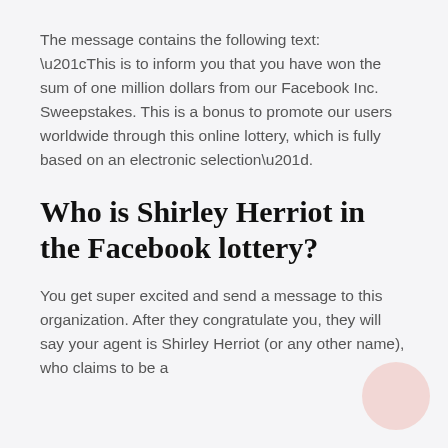The message contains the following text: “This is to inform you that you have won the sum of one million dollars from our Facebook Inc. Sweepstakes. This is a bonus to promote our users worldwide through this online lottery, which is fully based on an electronic selection”.
Who is Shirley Herriot in the Facebook lottery?
You get super excited and send a message to this organization. After they congratulate you, they will say your agent is Shirley Herriot (or any other name), who claims to be a